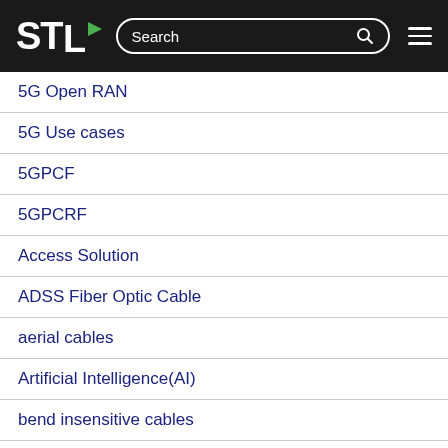STL — Search navigation header
5G Open RAN
5G Use cases
5GPCF
5GPCRF
Access Solution
ADSS Fiber Optic Cable
aerial cables
Artificial Intelligence(AI)
bend insensitive cables
Blockchain
CAT 6A